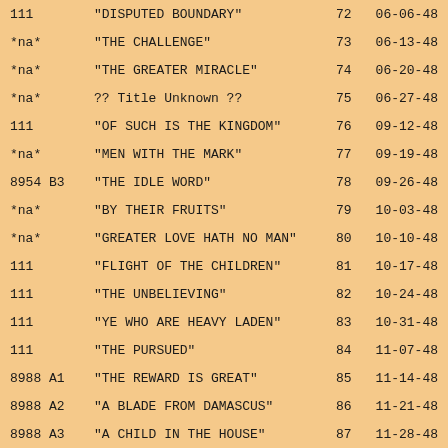| Code | Title | Ep | Date |
| --- | --- | --- | --- |
| 111 | "DISPUTED BOUNDARY" | 72 | 06-06-48 |
| *na* | "THE CHALLENGE" | 73 | 06-13-48 |
| *na* | "THE GREATER MIRACLE" | 74 | 06-20-48 |
| *na* | ?? Title Unknown ?? | 75 | 06-27-48 |
| 111 | "OF SUCH IS THE KINGDOM" | 76 | 09-12-48 |
| *na* | "MEN WITH THE MARK" | 77 | 09-19-48 |
| 8954 B3 | "THE IDLE WORD" | 78 | 09-26-48 |
| *na* | "BY THEIR FRUITS" | 79 | 10-03-48 |
| *na* | "GREATER LOVE HATH NO MAN" | 80 | 10-10-48 |
| 111 | "FLIGHT OF THE CHILDREN" | 81 | 10-17-48 |
| 111 | "THE UNBELIEVING" | 82 | 10-24-48 |
| 111 | "YE WHO ARE HEAVY LADEN" | 83 | 10-31-48 |
| 111 | "THE PURSUED" | 84 | 11-07-48 |
| 8988 A1 | "THE REWARD IS GREAT" | 85 | 11-14-48 |
| 8988 A2 | "A BLADE FROM DAMASCUS" | 86 | 11-21-48 |
| 8988 A3 | "A CHILD IN THE HOUSE" | 87 | 11-28-48 |